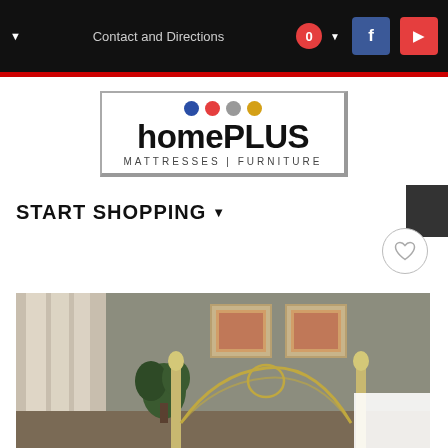Contact and Directions
[Figure (logo): homePLUS Mattresses | Furniture logo with colored dots (blue, red, gray, gold)]
START SHOPPING
[Figure (photo): Bedroom interior with ornate metal bed frame, framed wall art, curtains, and plant]